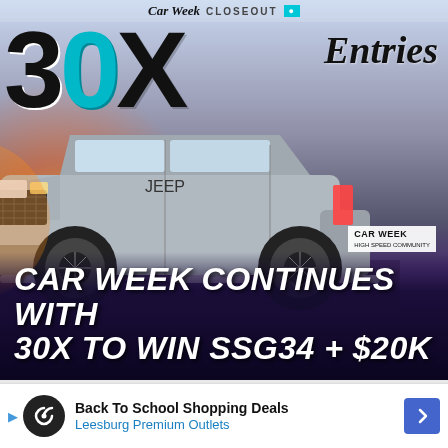[Figure (photo): Car Week Closeout promotional advertisement showing a silver Jeep Grand Cherokee Trackhawk driving on a purple-lit road with a sunset background. Large '30X Entries' text at top in black and cyan. Bottom text reads 'CAR WEEK CONTINUES WITH 30X TO WIN SSG34 + $20K'. Car Week logo in bottom right of image.]
Back To School Shopping Deals
Leesburg Premium Outlets